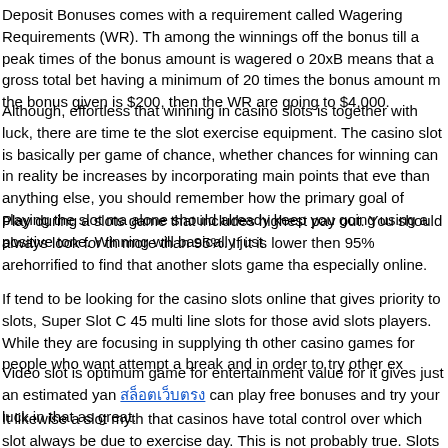Deposit Bonuses comes with a requirement called Wagering Requirements (WR). Th among the winnings off the bonus till a peak times of the bonus amount is wagered o 20xB means that a gross total bet having a minimum of 20 times the bonus amount m the bonus given is $200, then the WR are going to $4,000.
Although, effortless that winning in casino slots is together with luck, there are time te the slot exercise equipment. The casino slot is basically per game of chance, whether chances for winning can in reality be increases by incorporating main points that eve than anything else, you should remember how the primary goal of playing the slot ma alone should already keep you going using a positive tone. Winning will basically just
Play during a slots game that includes highest pay out. You should always look for th more than 95%. If it is lower then 95% arehorrified to find that another slots game tha especially online.
If tend to be looking for the casino slots online that gives priority to slots, Super Slot C 45 multi line slots for those avid slots players. While they are focusing in supplying th other casino games for people who want attempt a break and in order to try other ex
Video slot is optimum game for entertainment value for it gives just an estimated yan [link] can play free bonuses and try your luck in that as great.
It likewise a slot myth that casinos have total control over which slot always be due to exercise day. This is not probably true. Slots have random number generator and this as soon as the slot machine will hit a jackpot. The casino can never control this in wh